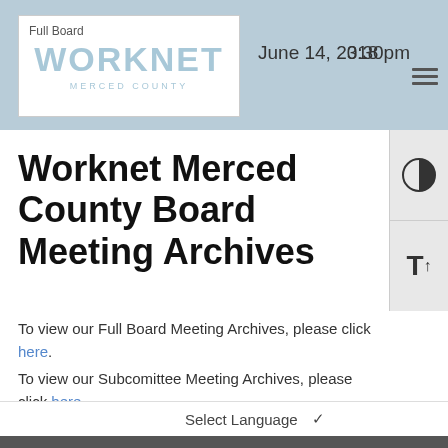Full Board | June 14, 2018 | 3:30pm
Worknet Merced County Board Meeting Archives
To view our Full Board Meeting Archives, please click here.
To view our Subcomittee Meeting Archives, please click here.
Worknet Merced County Board Meeting Agendas and Minutes are published in Adobe PDF format. To download a free copy of Adobe Reader, please click here.
Select Language